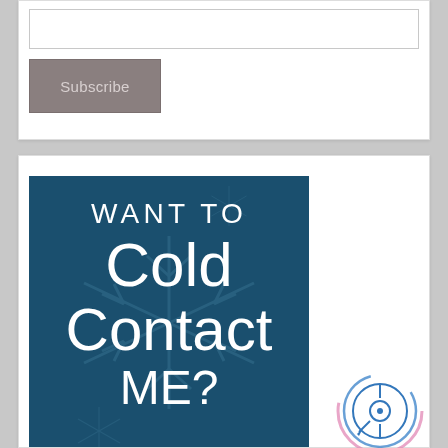[Figure (screenshot): Input field (text box) for email subscription]
[Figure (other): Subscribe button with grey background]
[Figure (infographic): Dark teal/navy infographic image with snowflake background pattern and white text reading WANT TO Cold Contact ME?]
[Figure (other): Circular icon with plus symbol, pink and blue concentric arc rings, on white background]